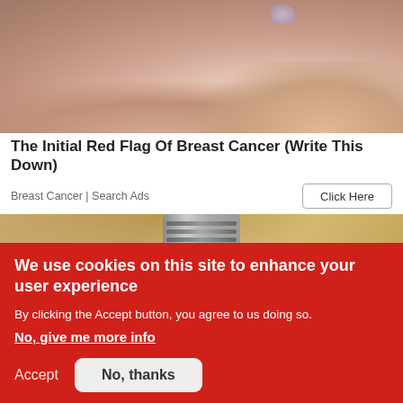[Figure (photo): Close-up of hands, possibly examining or touching, with light purple/mauve nail polish visible on one finger. Pink/beige tones.]
The Initial Red Flag Of Breast Cancer (Write This Down)
Breast Cancer | Search Ads
Click Here
[Figure (photo): A hand holding a white LED light bulb with a silver metal screw base, against a tan/brown background.]
We use cookies on this site to enhance your user experience
By clicking the Accept button, you agree to us doing so.
No, give me more info
Accept
No, thanks